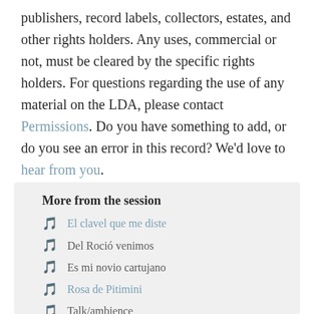publishers, record labels, collectors, estates, and other rights holders. Any uses, commercial or not, must be cleared by the specific rights holders. For questions regarding the use of any material on the LDA, please contact Permissions. Do you have something to add, or do you see an error in this record? We'd love to hear from you.
More from the session
El clavel que me diste
Del Roció venimos
Es mi novio cartujano
Rosa de Pitimini
Talk/ambience